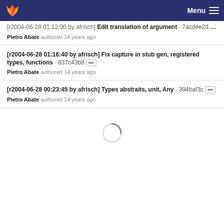Menu (GitLab navigation header)
[r2004-06-28 01:12:00 by afrisch] Edit translation of argument · 7acdee2d ··· Pietro Abate authored 14 years ago
[r2004-06-28 01:16:40 by afrisch] Fix capture in stub gen, registered types, functions · 837c43b8 ··· Pietro Abate authored 14 years ago
[r2004-06-28 00:23:45 by afrisch] Types abstraits, unit, Any · 394baf3c ··· Pietro Abate authored 14 years ago
[Figure (other): Loading spinner (circular progress indicator)]